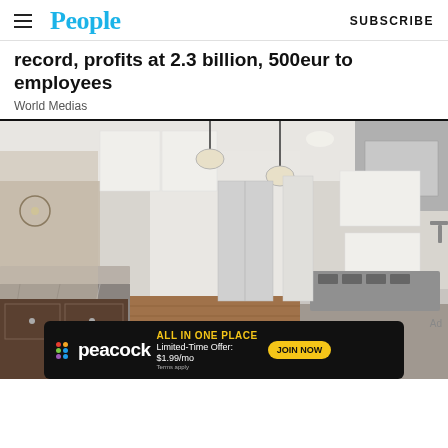People | SUBSCRIBE
record, profits at 2.3 billion, 500eur to employees
World Medias
[Figure (photo): Modern kitchen interior with white cabinets, granite island countertop, stainless steel appliances, pendant lights, and hardwood floors]
[Figure (infographic): Peacock streaming ad banner: ALL IN ONE PLACE, Limited-Time Offer: $1.99/mo, JOIN NOW button]